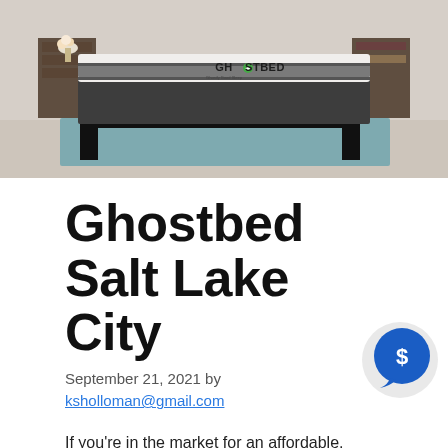[Figure (photo): GhostBed mattress displayed on a bed frame in a bedroom setting, with the GhostBed logo visible on the mattress side.]
Ghostbed Salt Lake City
September 21, 2021 by ksholloman@gmail.com
If you’re in the market for an affordable, cooling mattress, Ghostbed is worth looking at.
As we will talk about, the GhostBed is a latex